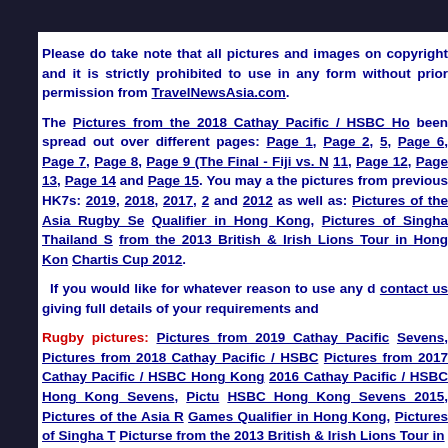Please do note that all pictures and images on copyright and it is strictly prohibited to use in any form without prior permission from TravelNewsAsia.com.
The Pictures from the 2018 Cathay Pacific / HSBC Ho been spread out over different pages: Page 1, Page 2, 5, Page 6, Page 7, Page 8, Page 9 (The Final - Fiji vs. 11, Page 12, Page 13, Page 14 and Page 15. You may also the pictures from previous HK7s: 2019, 2018, 2017, 2 and 2012 as well as: Pictures of the Asia Rugby Se Qualifier in Hong Kong, Pictures of Singha Thailand S from the 2013 British & Irish Lions Tour in Hong Kon Chartis Cup 2012.
If you would like for whatever reason to use any d contact us giving full details of your requirements and
Rugby pictures: Pictures from 2019 Cathay Pacific Sevens, Pictures from 2018 Cathay Pacific / HSBC Pictures from 2017 Cathay Pacific / HSBC Hong Kong 2016 Cathay Pacific / HSBC Hong Kong Sevens, Pictu HSBC Hong Kong Sevens 2015, Pictures of the Asia R Games Qualifier in Hong Kong, Pictures of Singha T Picturse from the 2013 British & Irish Lions Tour in